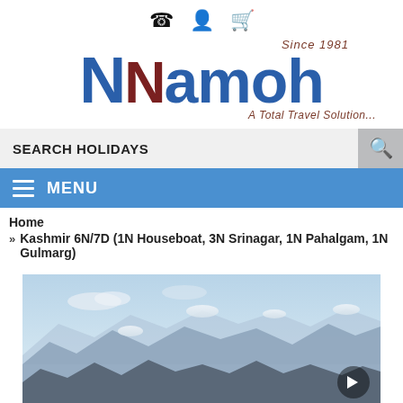[Figure (logo): Namoh travel agency logo with phone, user, and cart icons at top, large blue Namoh text with dark red N accent, tagline 'A Total Travel Solution...' and 'Since 1981']
SEARCH HOLIDAYS
MENU
Home
» Kashmir 6N/7D (1N Houseboat, 3N Srinagar, 1N Pahalgam, 1N Gulmarg)
[Figure (photo): Mountain landscape with snow-capped peaks and blue sky, Kashmir scenery]